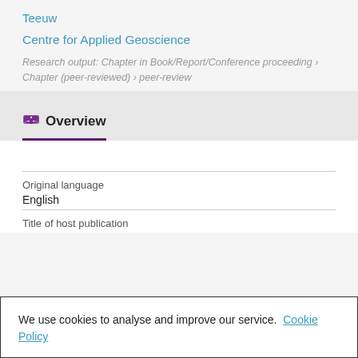Teeuw
Centre for Applied Geoscience
Research output: Chapter in Book/Report/Conference proceeding › Chapter (peer-reviewed) › peer-review
Overview
Original language
English
Title of host publication
We use cookies to analyse and improve our service. Cookie Policy